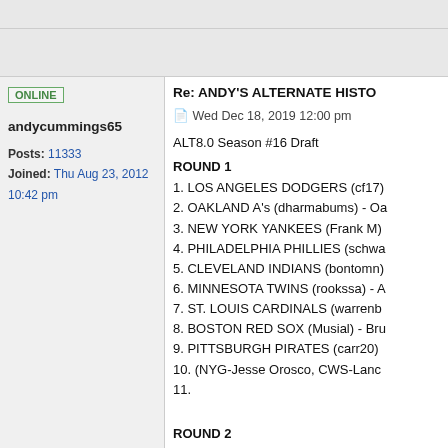ONLINE
Re: ANDY'S ALTERNATE HISTO
andycummings65
Posts: 11333
Joined: Thu Aug 23, 2012 10:42 pm
Wed Dec 18, 2019 12:00 pm
ALT8.0 Season #16 Draft
ROUND 1
1. LOS ANGELES DODGERS (cf17)
2. OAKLAND A's (dharmabums) - Oa
3. NEW YORK YANKEES (Frank M)
4. PHILADELPHIA PHILLIES (schwa
5. CLEVELAND INDIANS (bontomn)
6. MINNESOTA TWINS (rookssa) - A
7. ST. LOUIS CARDINALS (warrenb
8. BOSTON RED SOX (Musial) - Bru
9. PITTSBURGH PIRATES (carr20)
10. (NYG-Jesse Orosco, CWS-Lanc
11.

ROUND 2
1. LOS ANGELES DODGERS (cf17)
2. OAKLAND A's (dharmabums) - To
3. NEW YORK YANKEES (Frank M)
4. PHILADELPHIA PHILLIES (schwa